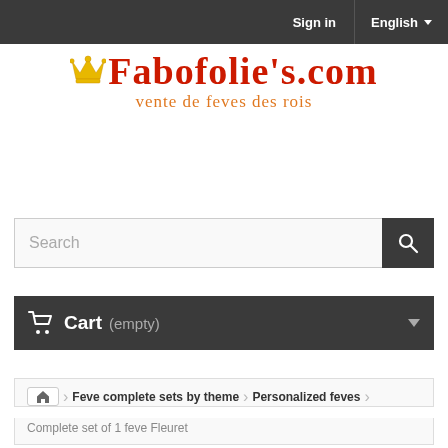Sign in | English
[Figure (logo): Fabofolie's.com logo with crown icon and subtitle 'vente de feves des rois']
Search
Cart (empty)
Feve complete sets by theme > Personalized feves
Complete set of 1 feve Fleuret